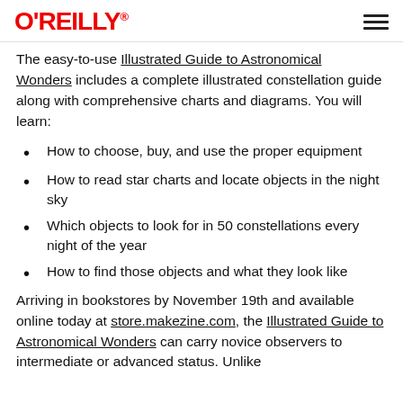O'REILLY
The easy-to-use Illustrated Guide to Astronomical Wonders includes a complete illustrated constellation guide along with comprehensive charts and diagrams. You will learn:
How to choose, buy, and use the proper equipment
How to read star charts and locate objects in the night sky
Which objects to look for in 50 constellations every night of the year
How to find those objects and what they look like
Arriving in bookstores by November 19th and available online today at store.makezine.com, the Illustrated Guide to Astronomical Wonders can carry novice observers to intermediate or advanced status. Unlike